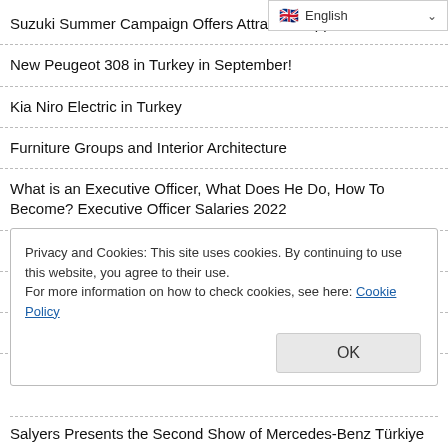Suzuki Summer Campaign Offers Attractive Opportunities
New Peugeot 308 in Turkey in September!
Kia Niro Electric in Turkey
Furniture Groups and Interior Architecture
What is an Executive Officer, What Does He Do, How To Become? Executive Officer Salaries 2022
Met with Motul Distributors on a Travel to Germany
Two Awards for Karsan from Stevie Awards!
Erkunt Tractor Grows with R&D and Technology Focused
Privacy and Cookies: This site uses cookies. By continuing to use this website, you agree to their use.
For more information on how to check cookies, see here: Cookie Policy
Salyers Presents the Second Show of Mercedes-Benz Türkiye